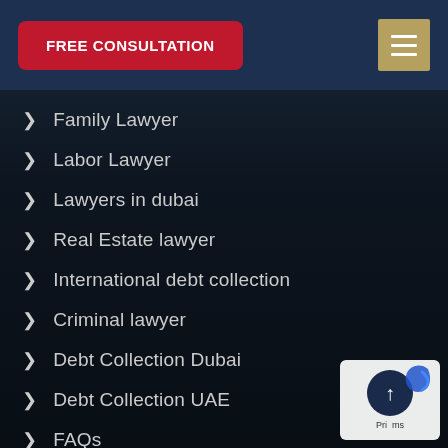FREE CONSULTATION
Family Lawyer
Labor Lawyer
Lawyers in dubai
Real Estate lawyer
International debt collection
Criminal lawyer
Debt Collection Dubai
Debt Collection UAE
FAQs